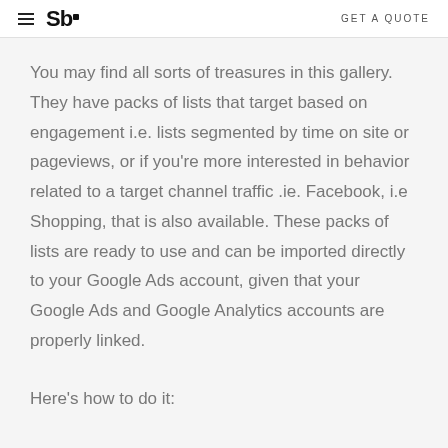Sb. GET A QUOTE
You may find all sorts of treasures in this gallery. They have packs of lists that target based on engagement i.e. lists segmented by time on site or pageviews, or if you're more interested in behavior related to a target channel traffic .ie. Facebook, i.e Shopping, that is also available. These packs of lists are ready to use and can be imported directly to your Google Ads account, given that your Google Ads and Google Analytics accounts are properly linked.
Here's how to do it: